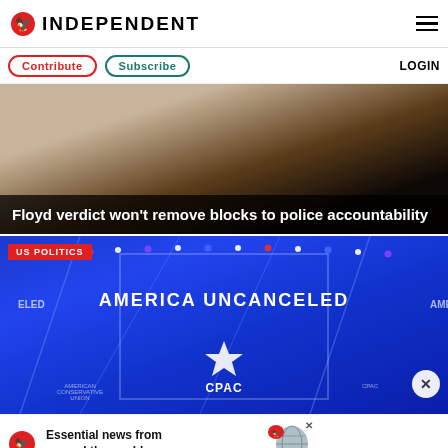INDEPENDENT
Contribute  Subscribe  LOGIN
[Figure (photo): Dark background photo behind article about Floyd verdict and police accountability]
Floyd verdict won't remove blocks to police accountability
[Figure (photo): CPAC 2021 stage with 'AMERICA UNCANCELED' text and CPAC logo, blue stage lighting, US POLITICS badge]
[Figure (advertisement): Independent advertisement banner: 'Essential news from around the world']